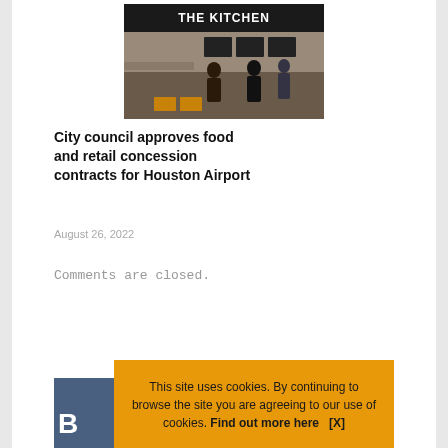[Figure (photo): Interior photo of 'The Kitchen' restaurant/food concession at Houston Airport, showing a dark-branded counter area with people and menu boards]
City council approves food and retail concession contracts for Houston Airport
August 26, 2022
Comments are closed.
This site uses cookies. By continuing to browse the site you are agreeing to our use of cookies. Find out more here   [X]